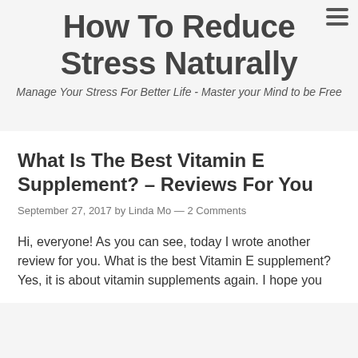How To Reduce Stress Naturally
Manage Your Stress For Better Life - Master your Mind to be Free
What Is The Best Vitamin E Supplement? – Reviews For You
September 27, 2017 by Linda Mo — 2 Comments
Hi, everyone! As you can see, today I wrote another review for you. What is the best Vitamin E supplement? Yes, it is about vitamin supplements again. I hope you